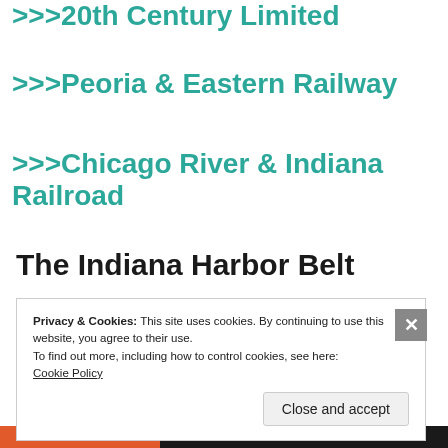>>>20th Century Limited
>>>Peoria & Eastern Railway
>>>Chicago River & Indiana Railroad
The Indiana Harbor Belt
Privacy & Cookies: This site uses cookies. By continuing to use this website, you agree to their use.
To find out more, including how to control cookies, see here: Cookie Policy
Close and accept